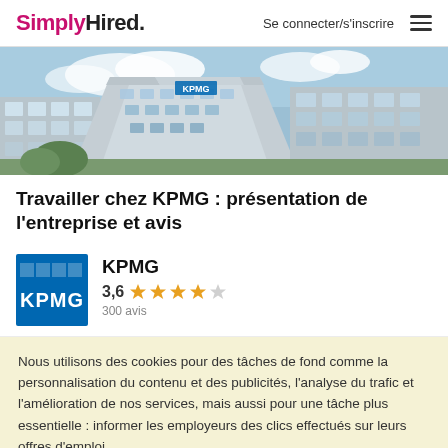SimplyHired. | Se connecter/s'inscrire
[Figure (photo): Exterior photo of a modern glass office building, with 'KPMG' signage visible, blue sky with clouds in the background.]
Travailler chez KPMG : présentation de l'entreprise et avis
[Figure (logo): KPMG company logo — white KPMG letters on blue background with grid pattern]
KPMG
3,6 ★★★★☆
300 avis
Nous utilisons des cookies pour des tâches de fond comme la personnalisation du contenu et des publicités, l'analyse du trafic et l'amélioration de nos services, mais aussi pour une tâche plus essentielle : informer les employeurs des clics effectués sur leurs offres d'emploi.